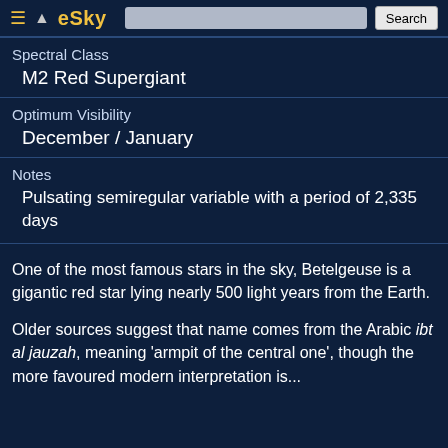eSky
Spectral Class
M2 Red Supergiant
Optimum Visibility
December / January
Notes
Pulsating semiregular variable with a period of 2,335 days
One of the most famous stars in the sky, Betelgeuse is a gigantic red star lying nearly 500 light years from the Earth.
Older sources suggest that name comes from the Arabic ibt al jauzah, meaning 'armpit of the central one', though the more favoured modern interpretation is...